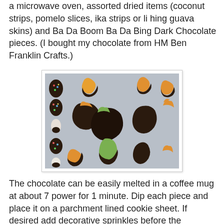a microwave oven, assorted dried items (coconut strips, pomelo slices, ika strips or li hing guava skins) and Ba Da Boom Ba Da Bing Dark Chocolate pieces. (I bought my chocolate from HM Ben Franklin Crafts.)
[Figure (photo): Chocolate-dipped dried fruit pieces (including pomelo slices, ika strips, and other dried items) laid out on a parchment-lined surface, some partially dipped showing orange and green colors beneath dark chocolate coating, with colorful sprinkles visible on some pieces.]
The chocolate can be easily melted in a coffee mug at about 7 power for 1 minute. Dip each piece and place it on a parchment lined cookie sheet.  If desired add decorative sprinkles before the chocolate dries.  A spoon will help you get the last bit of chocolate to drip over the fruit.  It will take about 1 hr. for the chocolate to harden enough for packing.  The Ba Da Boom Ba Da Bing chocolate tastes delicious and